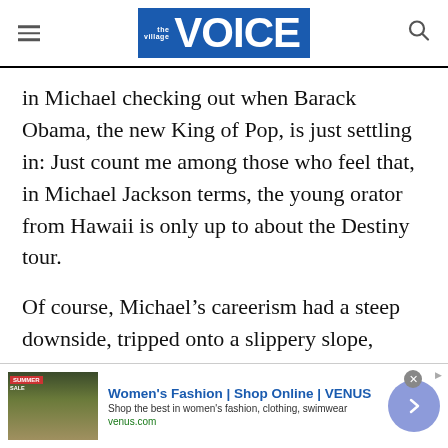the village VOICE
in Michael checking out when Barack Obama, the new King of Pop, is just settling in: Just count me among those who feel that, in Michael Jackson terms, the young orator from Hawaii is only up to about the Destiny tour.
Of course, Michael’s careerism had a steep downside, tripped onto a slippery slope, when he decided that his public and private life could be merged, orchestrated, and manipulated for publicity
[Figure (other): Advertisement banner: Women’s Fashion | Shop Online | VENUS. Shop the best in women’s fashion, clothing, swimwear. venus.com]